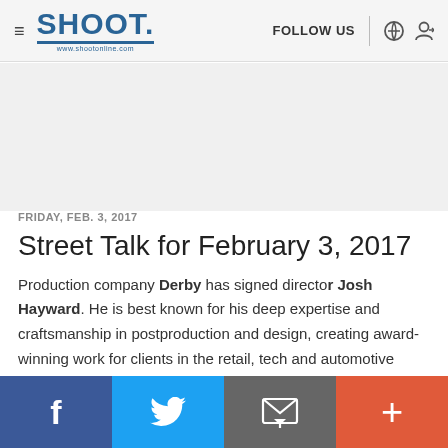SHOOT. | FOLLOW US
FRIDAY, FEB. 3, 2017
Street Talk for February 3, 2017
Production company Derby has signed director Josh Hayward. He is best known for his deep expertise and craftsmanship in postproduction and design, creating award-winning work for clients in the retail, tech and automotive spaces, including the Air Force, LL Bean...
f  Twitter  Email  +